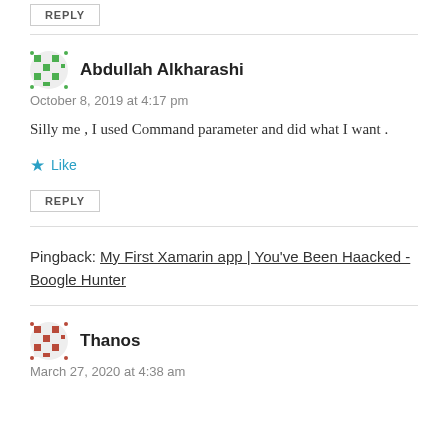REPLY
Abdullah Alkharashi
October 8, 2019 at 4:17 pm
Silly me , I used Command parameter and did what I want .
Like
REPLY
Pingback: My First Xamarin app | You’ve Been Haacked - Boogle Hunter
Thanos
March 27, 2020 at 4:38 am